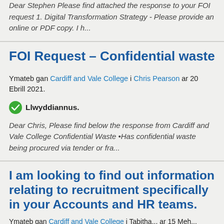Dear Stephen Please find attached the response to your FOI request 1. Digital Transformation Strategy - Please provide an online or PDF copy. I h...
FOI Request – Confidential waste
Ymateb gan Cardiff and Vale College i Chris Pearson ar 20 Ebrill 2021.
Llwyddiannus.
Dear Chris, Please find below the response from Cardiff and Vale College Confidential Waste •Has confidential waste being procured via tender or fra...
I am looking to find out information relating to recruitment specifically in your Accounts and HR teams.
Ymateb gan Cardiff and Vale College i Tabitha... ar 15 Meh...